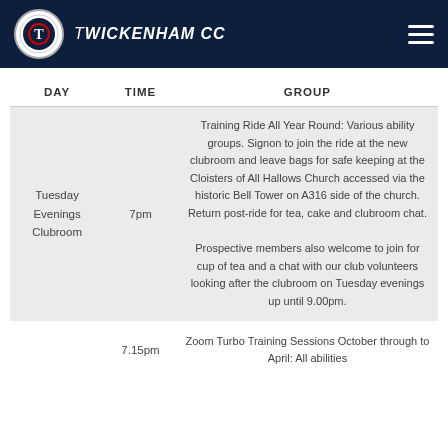Twickenham CC
| DAY | TIME | GROUP |
| --- | --- | --- |
| Tuesday Evenings Clubroom | 7pm | Training Ride All Year Round: Various ability groups. Signon to join the ride at the new clubroom and leave bags for safe keeping at the Cloisters of All Hallows Church accessed via the historic Bell Tower on A316 side of the church. Return post-ride for tea, cake and clubroom chat.

Prospective members also welcome to join for cup of tea and a chat with our club volunteers looking after the clubroom on Tuesday evenings up until 9.00pm. |
|  | 7.15pm | Zoom Turbo Training Sessions October through to April: All abilities |